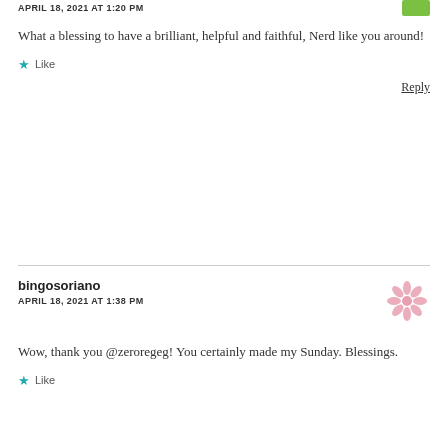APRIL 18, 2021 AT 1:20 PM
What a blessing to have a brilliant, helpful and faithful, Nerd like you around!
★ Like
Reply
bingosoriano
APRIL 18, 2021 AT 1:38 PM
Wow, thank you @zeroregeg! You certainly made my Sunday. Blessings.
★ Like